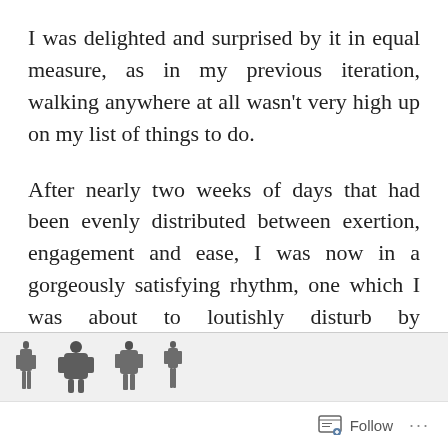I was delighted and surprised by it in equal measure, as in my previous iteration, walking anywhere at all wasn't very high up on my list of things to do.
After nearly two weeks of days that had been evenly distributed between exertion, engagement and ease, I was now in a gorgeously satisfying rhythm, one which I was about to loutishly disturb by transitioning from Johnnie Walker to Biker John.
[Figure (photo): A strip of small silhouetted figures or objects, partially visible at the bottom of the page]
Follow ···